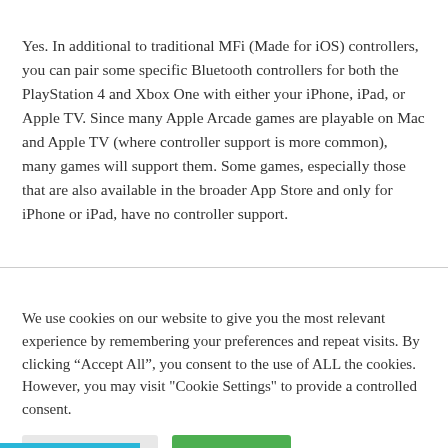Yes. In additional to traditional MFi (Made for iOS) controllers, you can pair some specific Bluetooth controllers for both the PlayStation 4 and Xbox One with either your iPhone, iPad, or Apple TV. Since many Apple Arcade games are playable on Mac and Apple TV (where controller support is more common), many games will support them. Some games, especially those that are also available in the broader App Store and only for iPhone or iPad, have no controller support.
We use cookies on our website to give you the most relevant experience by remembering your preferences and repeat visits. By clicking “Accept All”, you consent to the use of ALL the cookies. However, you may visit "Cookie Settings" to provide a controlled consent.
Cookie Settings | Accept All